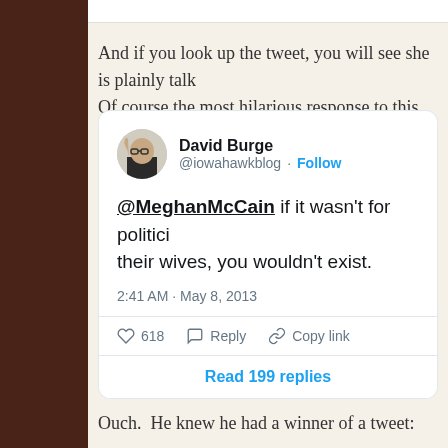And if you look up the tweet, you will see she is plainly talk... Of course the most hilarious response to this was from Iowa...
[Figure (screenshot): Tweet by David Burge (@iowahawkblog) reading: '@MeghanMcCain if it wasn't for politi... their wives, you wouldn't exist.' Posted at 2:41 AM · May 8, 2013. 618 likes. Read 199 replies.]
Ouch.  He knew he had a winner of a tweet: